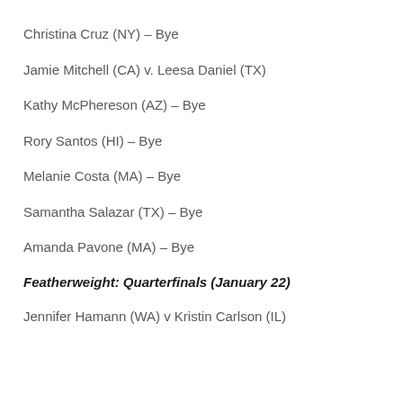Christina Cruz (NY) – Bye
Jamie Mitchell (CA) v. Leesa Daniel (TX)
Kathy McPhereson (AZ) – Bye
Rory Santos (HI) – Bye
Melanie Costa (MA) – Bye
Samantha Salazar (TX) – Bye
Amanda Pavone (MA) – Bye
Featherweight: Quarterfinals (January 22)
Jennifer Hamann (WA) v Kristin Carlson (IL)